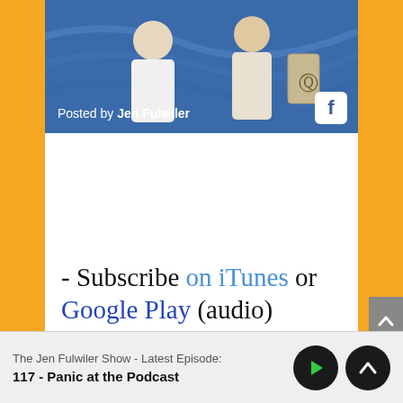[Figure (photo): A screenshot of a social media or podcast webpage. At the top is a photo/video thumbnail showing people in front of a blue background, with text 'Posted by Jen Fulwiler' overlaid at the bottom left and a Facebook icon at the bottom right.]
- Subscribe on iTunes or Google Play (audio)
- Get weekly bonus
The Jen Fulwiler Show - Latest Episode:
117 - Panic at the Podcast